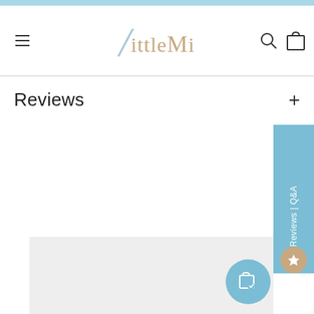[Figure (screenshot): Little Mi e-commerce website header with hamburger menu, logo, search and cart icons]
Reviews
[Figure (screenshot): Reviews | Q&A sidebar tab with star icon in blue]
[Figure (screenshot): Light grey content area placeholder with a teal floating action button (shopping bag with heart)]